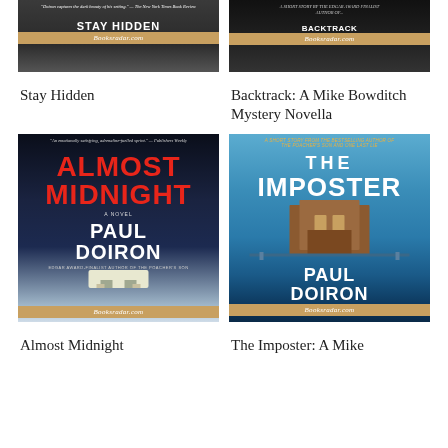[Figure (photo): Book cover of 'Stay Hidden' by Paul Doiron with Booksradar.com branding]
[Figure (photo): Book cover of 'Backtrack: A Mike Bowditch Mystery Novella' by Paul Doiron with Booksradar.com branding]
Stay Hidden
Backtrack: A Mike Bowditch Mystery Novella
[Figure (photo): Book cover of 'Almost Midnight' by Paul Doiron - a novel, Edgar Award-finalist author of The Poacher's Son, with Booksradar.com branding]
[Figure (photo): Book cover of 'The Imposter: A Mike Bowditch Short Story' by Paul Doiron with Booksradar.com branding]
Almost Midnight
The Imposter: A Mike